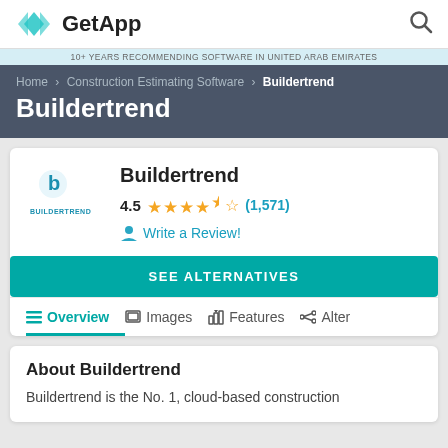GetApp
10+ YEARS RECOMMENDING SOFTWARE IN UNITED ARAB EMIRATES
Home › Construction Estimating Software › Buildertrend
Buildertrend
Buildertrend
4.5  (1,571)
Write a Review!
SEE ALTERNATIVES
Overview   Images   Features   Alter
About Buildertrend
Buildertrend is the No. 1, cloud-based construction